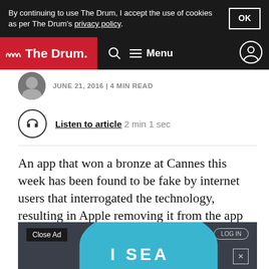By continuing to use The Drum, I accept the use of cookies as per The Drum's privacy policy. OK
The Drum — Menu
JUNE 21, 2016 | 4 MIN READ
Listen to article  2 min 1 sec
An app that won a bronze at Cannes this week has been found to be fake by internet users that interrogated the technology, resulting in Apple removing it from the app store.
[Figure (screenshot): Advertisement banner showing 'I SEA' text over a dark teal/blue circle on a dark background, with 'Close Ad' button and 'LOG IN' button]